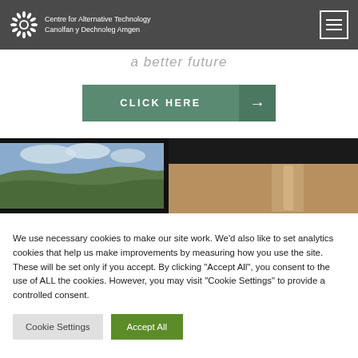Centre for Alternative Technology / Canolfan y Dechnoleg Amgen
CLICK HERE →
[Figure (photo): A landscape photo showing green hills and cloudy sky on the left, and an interior architectural photo on the right, set against a dark background strip.]
We use necessary cookies to make our site work. We'd also like to set analytics cookies that help us make improvements by measuring how you use the site. These will be set only if you accept. By clicking "Accept All", you consent to the use of ALL the cookies. However, you may visit "Cookie Settings" to provide a controlled consent.
Cookie Settings   Accept All